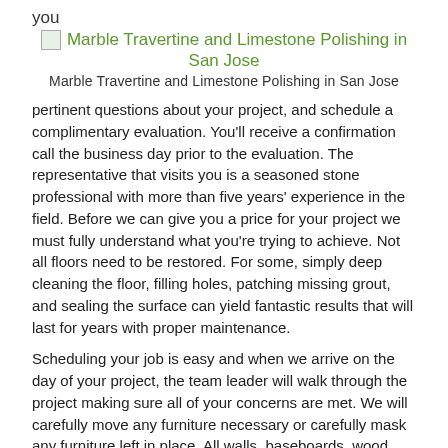you
[Figure (illustration): Broken image placeholder with link text: Marble Travertine and Limestone Polishing in San Jose]
Marble Travertine and Limestone Polishing in San Jose
pertinent questions about your project, and schedule a complimentary evaluation. You'll receive a confirmation call the business day prior to the evaluation. The representative that visits you is a seasoned stone professional with more than five years' experience in the field. Before we can give you a price for your project we must fully understand what you're trying to achieve. Not all floors need to be restored. For some, simply deep cleaning the floor, filling holes, patching missing grout, and sealing the surface can yield fantastic results that will last for years with proper maintenance.
Scheduling your job is easy and when we arrive on the day of your project, the team leader will walk through the project making sure all of your concerns are met. We will carefully move any furniture necessary or carefully mask any furniture left in place. All walls, baseboards, wood floors, carpet and any other sensitive areas surrounding the project will be protected from water with plastic, tape, and canvas as necessary. The protection of your property while we work is our first concern.